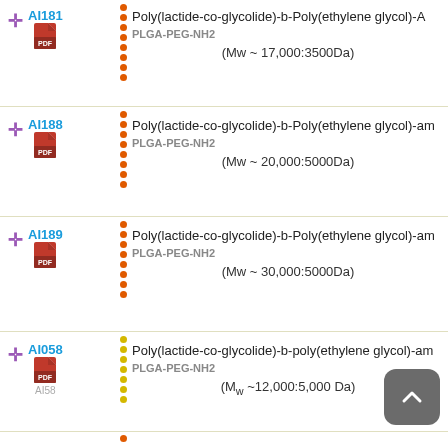AI181 - Poly(lactide-co-glycolide)-b-Poly(ethylene glycol)-A / PLGA-PEG-NH2 (Mw ~ 17,000:3500Da)
AI188 - Poly(lactide-co-glycolide)-b-Poly(ethylene glycol)-am / PLGA-PEG-NH2 (Mw ~ 20,000:5000Da)
AI189 - Poly(lactide-co-glycolide)-b-Poly(ethylene glycol)-am / PLGA-PEG-NH2 (Mw ~ 30,000:5000Da)
AI058 / AI58 - Poly(lactide-co-glycolide)-b-poly(ethylene glycol)-am / PLGA-PEG-NH2 (Mw ~12,000:5,000 Da)